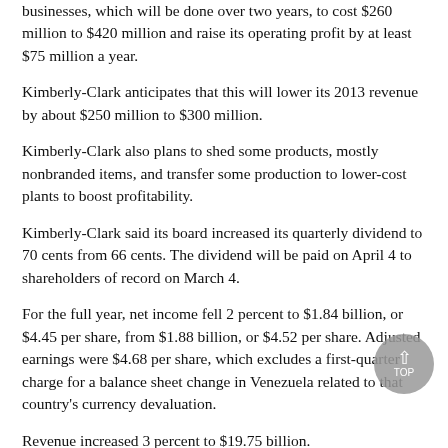businesses, which will be done over two years, to cost $260 million to $420 million and raise its operating profit by at least $75 million a year.
Kimberly-Clark anticipates that this will lower its 2013 revenue by about $250 million to $300 million.
Kimberly-Clark also plans to shed some products, mostly nonbranded items, and transfer some production to lower-cost plants to boost profitability.
Kimberly-Clark said its board increased its quarterly dividend to 70 cents from 66 cents. The dividend will be paid on April 4 to shareholders of record on March 4.
For the full year, net income fell 2 percent to $1.84 billion, or $4.45 per share, from $1.88 billion, or $4.52 per share. Adjusted earnings were $4.68 per share, which excludes a first-quarter charge for a balance sheet change in Venezuela related to that country's currency devaluation.
Revenue increased 3 percent to $19.75 billion.
Kimberly-Clark, based in Dallas, predicts 2011 adjusted earnings